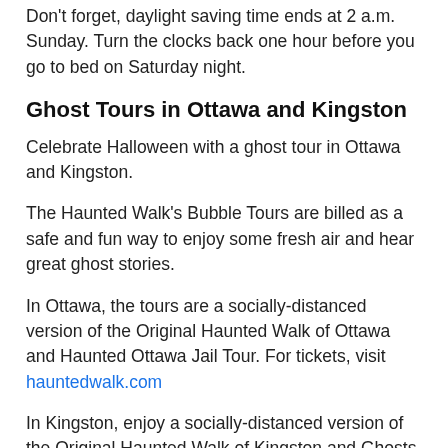Don't forget, daylight saving time ends at 2 a.m. Sunday. Turn the clocks back one hour before you go to bed on Saturday night.
Ghost Tours in Ottawa and Kingston
Celebrate Halloween with a ghost tour in Ottawa and Kingston.
The Haunted Walk's Bubble Tours are billed as a safe and fun way to enjoy some fresh air and hear great ghost stories.
In Ottawa, the tours are a socially-distanced version of the Original Haunted Walk of Ottawa and Haunted Ottawa Jail Tour. For tickets, visit hauntedwalk.com
In Kingston, enjoy a socially-distanced version of the Original Haunted Walk of Kingston and Ghosts of Fort Henry. For tickets, visit hauntedwalk.com
The Haunted Walk is also hosting virtual Haunted